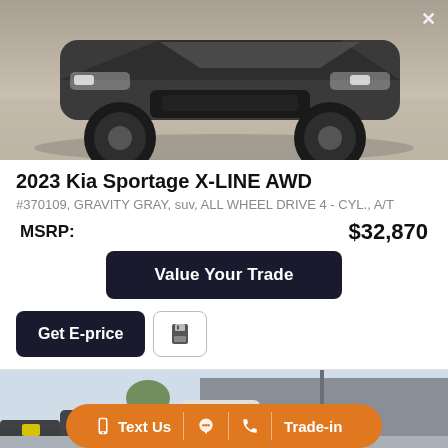[Figure (photo): Front view of a dark gray 2023 Kia Sportage X-LINE AWD SUV photographed in a parking lot]
2023 Kia Sportage X-LINE AWD
#370109, GRAVITY GRAY, suv, ALL WHEEL DRIVE 4 - CYL., A/T
MSRP: $32,870
Value Your Trade
Get E-price
[Figure (photo): Partial view of vehicles in a dealership lot with building in background]
Text Us  Trade-in